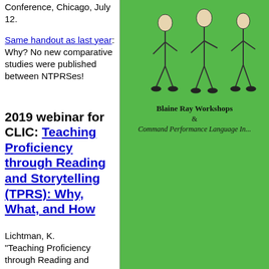Conference, Chicago, July 12.
Same handout as last year: Why? No new comparative studies were published between NTPRSes!
2019 webinar for CLIC: Teaching Proficiency through Reading and Storytelling (TPRS): Why, What, and How
Lichtman, K. "Teaching Proficiency through Reading and Storytelling (TPRS):
[Figure (illustration): Green book cover showing illustrated figures of people, with text 'Blaine Ray Workshops & Command Performance Language In...']